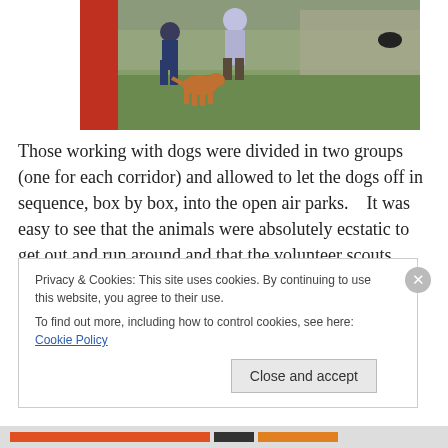[Figure (photo): Outdoor scene showing people bending down interacting with dogs in a grassy enclosure area with fencing visible in background]
Those working with dogs were divided in two groups (one for each corridor) and allowed to let the dogs off in sequence, box by box, into the open air parks.   It was easy to see that the animals were absolutely ecstatic to get out and run around and that the volunteer scouts were
Privacy & Cookies: This site uses cookies. By continuing to use this website, you agree to their use.
To find out more, including how to control cookies, see here: Cookie Policy
Close and accept